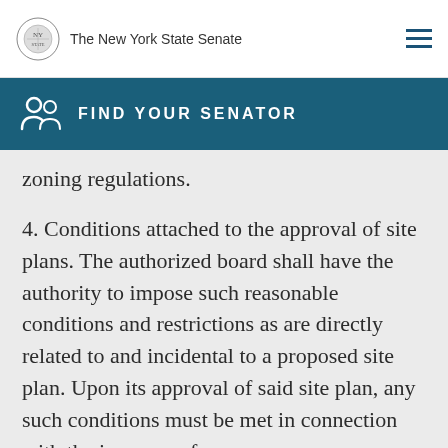The New York State Senate
FIND YOUR SENATOR
zoning regulations.
4. Conditions attached to the approval of site plans. The authorized board shall have the authority to impose such reasonable conditions and restrictions as are directly related to and incidental to a proposed site plan. Upon its approval of said site plan, any such conditions must be met in connection with the issuance of